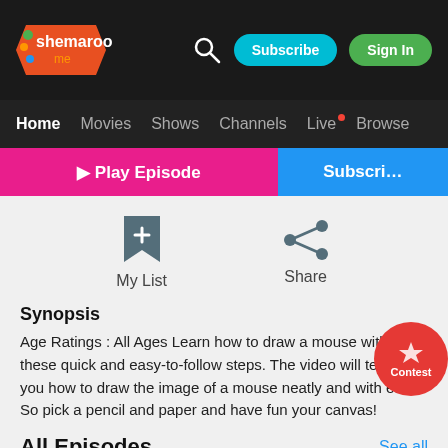[Figure (screenshot): Shemaroo Me logo - colorful play button with shemaroo me text]
Subscribe   Sign In
Home   Movies   Shows   Channels   Live   Browse
Play Episode   Subscribe
[Figure (other): Bookmark/My List icon]
My List
[Figure (other): Share icon]
Share
Synopsis
Age Ratings : All Ages Learn how to draw a mouse with these quick and easy-to-follow steps. The video will teach you how to draw the image of a mouse neatly and with ease. So pick a pencil and paper and have fun your canvas!
All Episodes
See all